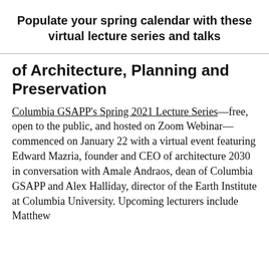Populate your spring calendar with these virtual lecture series and talks
of Architecture, Planning and Preservation
Columbia GSAPP's Spring 2021 Lecture Series—free, open to the public, and hosted on Zoom Webinar—commenced on January 22 with a virtual event featuring Edward Mazria, founder and CEO of architecture 2030 in conversation with Amale Andraos, dean of Columbia GSAPP and Alex Halliday, director of the Earth Institute at Columbia University. Upcoming lecturers include Matthew